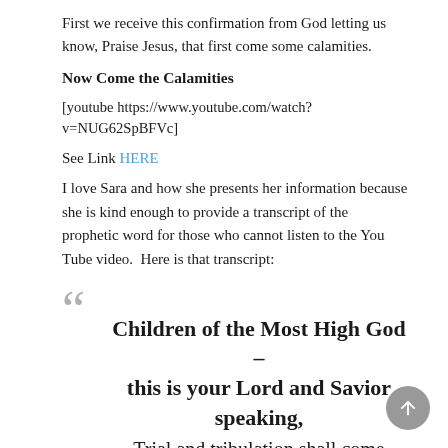First we receive this confirmation from God letting us know, Praise Jesus, that first come some calamities.
Now Come the Calamities
[youtube https://www.youtube.com/watch?v=NUG62SpBFVc]
See Link HERE
I love Sara and how she presents her information because she is kind enough to provide a transcript of the prophetic word for those who cannot listen to the You Tube video.  Here is that transcript:
Children of the Most High God – this is your Lord and Savior speaking,
Trial and tribulation shall come upon the nations like never before